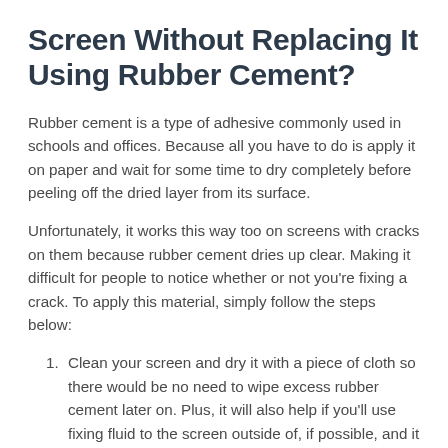Screen Without Replacing It Using Rubber Cement?
Rubber cement is a type of adhesive commonly used in schools and offices. Because all you have to do is apply it on paper and wait for some time to dry completely before peeling off the dried layer from its surface.
Unfortunately, it works this way too on screens with cracks on them because rubber cement dries up clear. Making it difficult for people to notice whether or not you're fixing a crack. To apply this material, simply follow the steps below:
Clean your screen and dry it with a piece of cloth so there would be no need to wipe excess rubber cement later on. Plus, it will also help if you'll use fixing fluid on the screen outside of, if possible, and it...